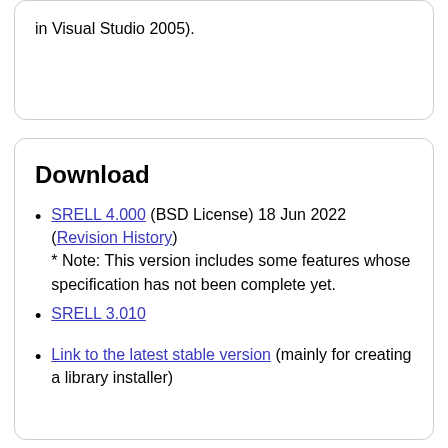in Visual Studio 2005).
Download
SRELL 4.000 (BSD License) 18 Jun 2022 (Revision History)
* Note: This version includes some features whose specification has not been complete yet.
SRELL 3.010
Link to the latest stable version (mainly for creating a library installer)